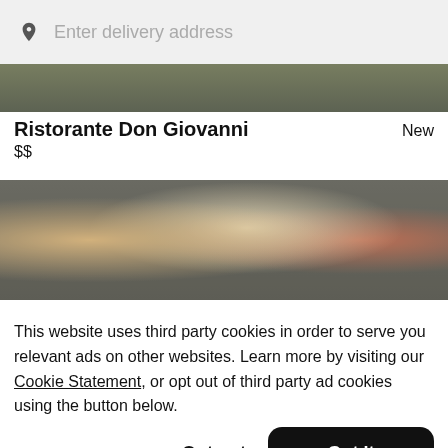Enter delivery address
[Figure (photo): Partial top strip of food image showing dishes on dark background]
Ristorante Don Giovanni
$$
New
[Figure (photo): Food image strip showing pasta and Italian dishes on dark plates against dark background]
This website uses third party cookies in order to serve you relevant ads on other websites. Learn more by visiting our Cookie Statement, or opt out of third party ad cookies using the button below.
Opt out
Got it